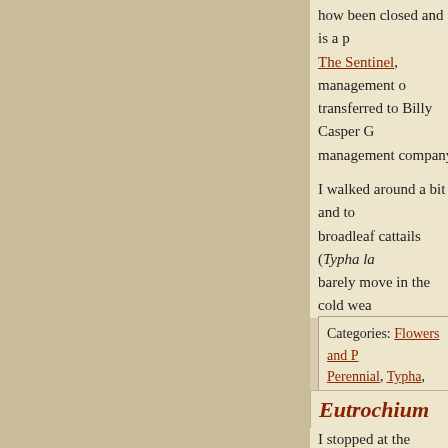how been closed and is a p... The Sentinel, management ... transferred to Billy Casper ... management company head... Reston, Virginia. I can conf... the grounds it pretty pitiful.
I walked around a bit and to... broadleaf cattails (Typha la... barely move in the cold wea...
Categories: Flowers and P... Perennial, Typha, Typha la...
Eutrochium pur...
Photograph taken on Wednesday, June 1...
I stopped at the Croyden Cr... on the way home, figuring t...